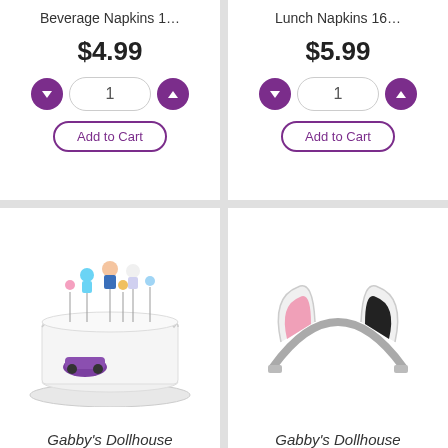Beverage Napkins 1…
$4.99
Add to Cart
Lunch Napkins 16…
$5.99
Add to Cart
[Figure (photo): White layered cake decorated with Gabby's Dollhouse character figurines on sticks as cake toppers]
Gabby's Dollhouse
[Figure (photo): Cat ear headband with pink and black ears on a silver metallic band]
Gabby's Dollhouse